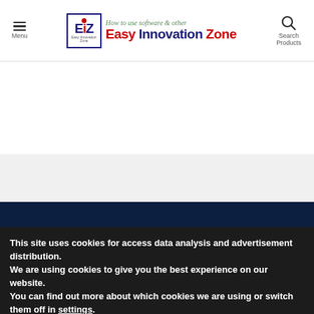Menu | Easy Innovation Zone - How to use software & other | Search Products
This site uses cookies for access data analysis and advertisement distribution.
We are using cookies to give you the best experience on our website.
You can find out more about which cookies we are using or switch them off in settings.